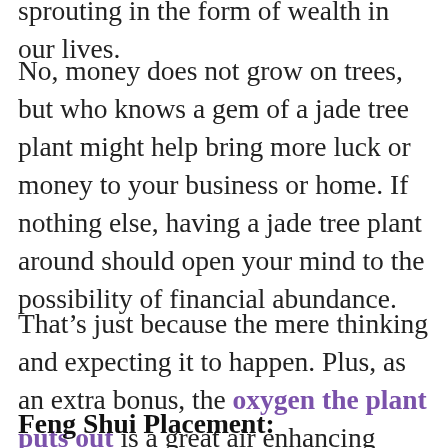sprouting in the form of wealth in our lives.
No, money does not grow on trees, but who knows a gem of a jade tree plant might help bring more luck or money to your business or home. If nothing else, having a jade tree plant around should open your mind to the possibility of financial abundance.
That’s just because the mere thinking and expecting it to happen. Plus, as an extra bonus, the oxygen the plant puts out is a great air enhancing feature.
Feng Shui Placement: